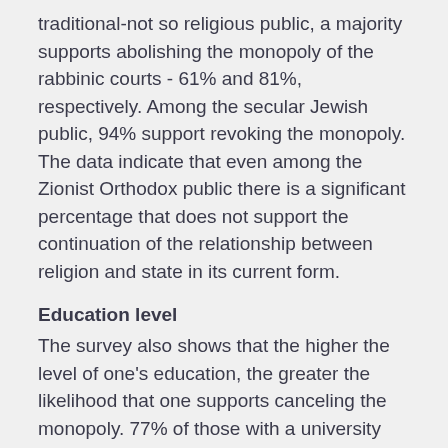traditional-not so religious public, a majority supports abolishing the monopoly of the rabbinic courts - 61% and 81%, respectively. Among the secular Jewish public, 94% support revoking the monopoly. The data indicate that even among the Zionist Orthodox public there is a significant percentage that does not support the continuation of the relationship between religion and state in its current form.
Education level
The survey also shows that the higher the level of one's education, the greater the likelihood that one supports canceling the monopoly. 77% of those with a university education support canceling the monopoly, compared with 57% of those with a high school education or less.
Votes in the 2015 Knesset elections
Among the voters for the four non-Harodi Coalition